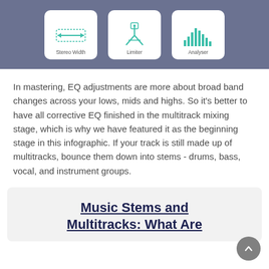[Figure (screenshot): Three plugin cards on a grey-blue background showing Stereo Width, Limiter, and Analyser audio tools with teal icons]
In mastering, EQ adjustments are more about broad band changes across your lows, mids and highs. So it's better to have all corrective EQ finished in the multitrack mixing stage, which is why we have featured it as the beginning stage in this infographic. If your track is still made up of multitracks, bounce them down into stems - drums, bass, vocal, and instrument groups.
Music Stems and Multitracks: What Are They?